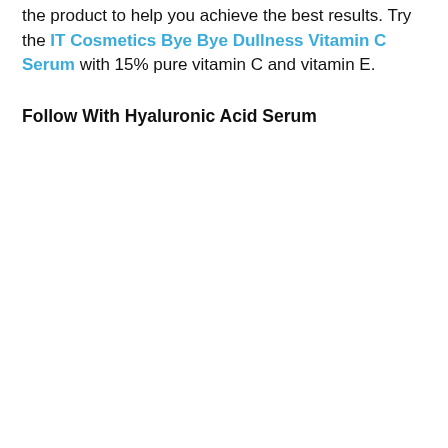the product to help you achieve the best results. Try the IT Cosmetics Bye Bye Dullness Vitamin C Serum with 15% pure vitamin C and vitamin E.
Follow With Hyaluronic Acid Serum